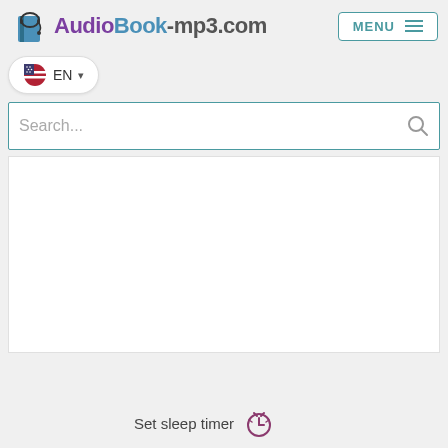[Figure (logo): AudioBook-mp3.com logo with headphones icon]
[Figure (screenshot): MENU button with hamburger icon]
[Figure (screenshot): EN language selector dropdown button with US flag]
[Figure (screenshot): Search bar with placeholder text and magnifying glass icon]
Set sleep timer